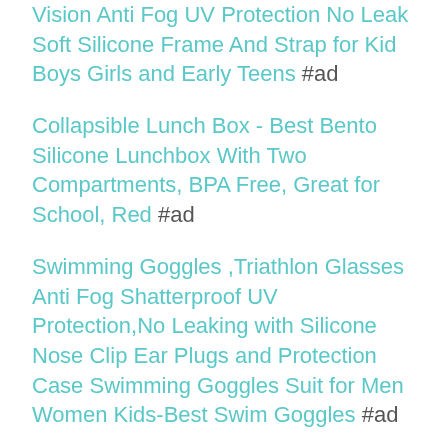Vision Anti Fog UV Protection No Leak Soft Silicone Frame And Strap for Kid Boys Girls and Early Teens #ad
Collapsible Lunch Box - Best Bento Silicone Lunchbox With Two Compartments, BPA Free, Great for School, Red #ad
Swimming Goggles ,Triathlon Glasses Anti Fog Shatterproof UV Protection,No Leaking with Silicone Nose Clip Ear Plugs and Protection Case Swimming Goggles Suit for Men Women Kids-Best Swim Goggles #ad
Maxboost Fidget Cube Focus Fidget Toy Cube Prime Reliever 6 Side Phone Stress Ball (1-Pack) Anti-anxiety /Depression Dice for Children Students Adults - Great Figit Cube for Work, Class and Home #ad